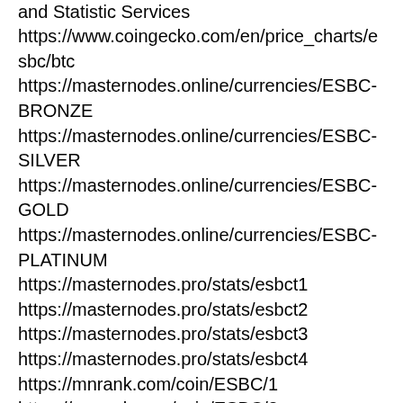https://esbc.pro/link/exchange/crex Monitoring and Statistic Services https://www.coingecko.com/en/price_charts/esbc/btc https://masternodes.online/currencies/ESBC-BRONZE https://masternodes.online/currencies/ESBC-SILVER https://masternodes.online/currencies/ESBC-GOLD https://masternodes.online/currencies/ESBC-PLATINUM https://masternodes.pro/stats/esbct1 https://masternodes.pro/stats/esbct2 https://masternodes.pro/stats/esbct3 https://masternodes.pro/stats/esbct4 https://mnrank.com/coin/ESBC/1 https://mnrank.com/coin/ESBC/2 https://mnrank.com/coin/ESBC/3 https://mnrank.com/coin/ESBC/4 SHARED MASTERNODE SERVICES and HOSTING PROVIDER https://esbc.pro/link/partner/cryptohashtank https://esbc.pro/link/partner/cryptoselfmade https://esbc.pro/link/partner/stakofstake https://esbc.pro/link/partner/stakinglab